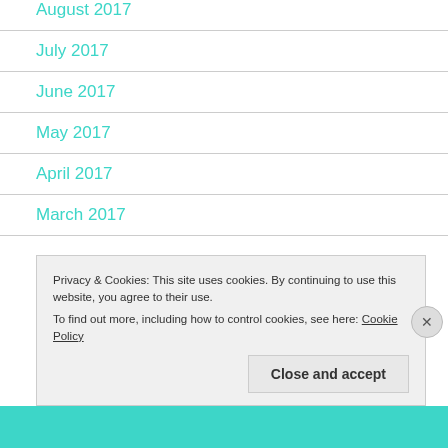August 2017
July 2017
June 2017
May 2017
April 2017
March 2017
Privacy & Cookies: This site uses cookies. By continuing to use this website, you agree to their use.
To find out more, including how to control cookies, see here: Cookie Policy
Close and accept